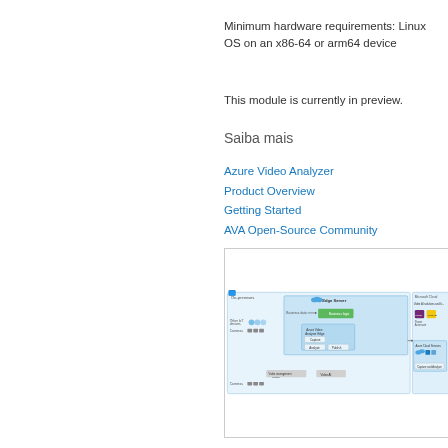Minimum hardware requirements: Linux OS on an x86-64 or arm64 device
This module is currently in preview.
Saiba mais
Azure Video Analyzer
Product Overview
Getting Started
AVA Open-Source Community
[Figure (schematic): Azure Video Analyzer architecture diagram showing On-premises setup with Edge Server, Azure Video Analyzer Edge module, cameras, business data, business logic, and connection to Microsoft Cloud with Video AI solutions and Azure Cloud Services including Capture and Analyze components.]